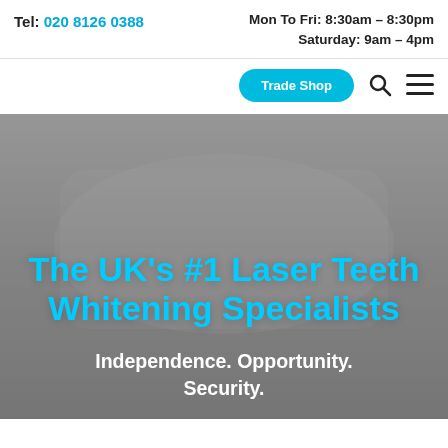Tel: 020 8126 0388   Mon To Fri: 8:30am – 8:30pm   Saturday: 9am – 4pm
[Figure (screenshot): Navigation bar with Trade Shop button, search icon, and hamburger menu icon]
[Figure (photo): Background image showing dental whitening trays, overlaid with grey tint]
The UK's #1 Laser Teeth Whitening Specialists
Independence. Opportunity. Security.